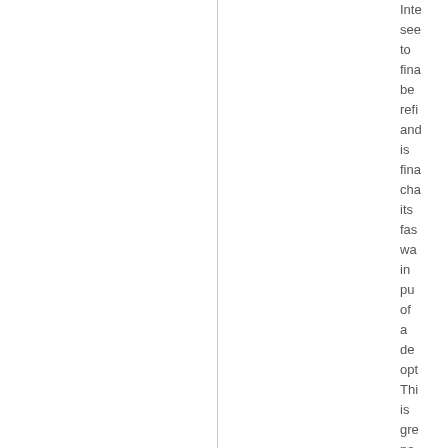Inte see to fina be refi and is fina cha its fas wa in pu of a de opt Thi is gre ne me it